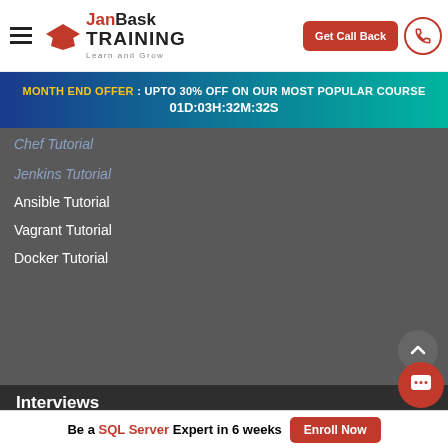JanBask Training - Learn and Grow | Get Call Back
MONTH END OFFER : UPTO 30% OFF ON OUR MOST POPULAR COURSE 01D:03H:32M:32S
Chef Tutorial
Jenkins Tutorial
Ansible Tutorial
Vagrant Tutorial
Docker Tutorial
Interviews
Business Analyst Interview Questions | DevOps Interview Questions | AWS Interview Questions | QA Testing Interview Questions | Software T... Interview Questions | SQL Interview Questions | Salesforce...
Be a SQL Server Expert in 6 weeks  Enroll Now